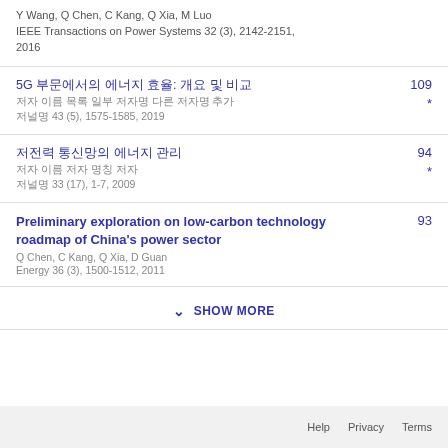Y Wang, Q Chen, C Kang, Q Xia, M Luo
IEEE Transactions on Power Systems 32 (3), 2142-2151, 2016
5G 모바일 통신에서의 에너지 효율: 개요 및 비교
저자 이름 목록 일부 저자명 다른 저자명 추가
저널명 43 (5), 1575-1585, 2019 | 109 | *
저전력 통신망의 에너지 관리
저자 이름 저자 명칭 저자
저널명 33 (17), 1-7, 2009 | 94 | *
Preliminary exploration on low-carbon technology roadmap of China's power sector
Q Chen, C Kang, Q Xia, D Guan
Energy 36 (3), 1500-1512, 2011 | 93
SHOW MORE
Help  Privacy  Terms